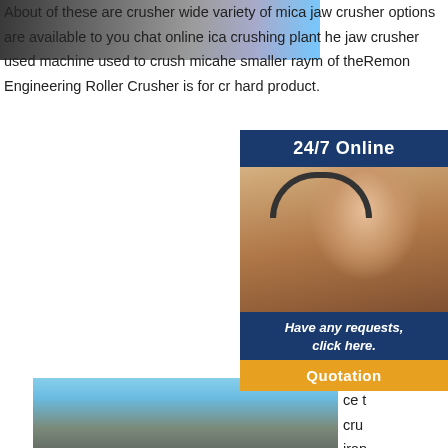[Figure (photo): Top banner image of limestone/mica crusher machinery with blue tones]
About of these are crusher wide variety of mica jaw crusher options are available to you chat online ica crushing plant he jaw crusher used machine used to crush micahe smaller raym of theRemon Engineering Roller Crusher is for cr hard product.
[Figure (infographic): Sidebar widget with '24/7 Online' header, photo of woman with headset, 'Have any requests, click here.' text, and 'Quotation' orange button]
[Figure (photo): Industrial mining conveyor belt facility with Email:lmzgvip@gmail.com overlay and LMZG HEAVY INDUSTRY watermark]
ce t cru iran mica supplier quarry crusher machine manufacturer . double roll crusher roll mill crusher toothed roll crusher product application of double roll crusher: roller crusher is mainly applied in cement, metallurgy, chemical. Crushing of Mica Ore 911 Metallurgist .